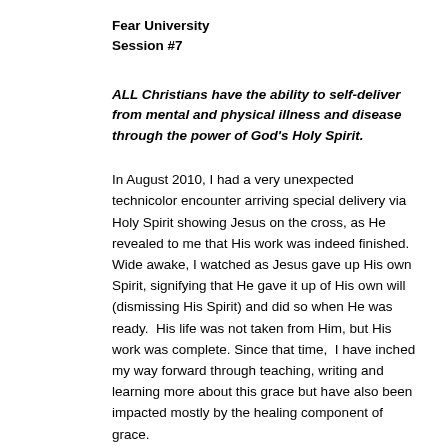Fear University
Session #7
ALL Christians have the ability to self-deliver from mental and physical illness and disease through the power of God's Holy Spirit.
In August 2010, I had a very unexpected technicolor encounter arriving special delivery via Holy Spirit showing Jesus on the cross, as He revealed to me that His work was indeed finished. Wide awake, I watched as Jesus gave up His own Spirit, signifying that He gave it up of His own will (dismissing His Spirit) and did so when He was ready.  His life was not taken from Him, but His work was complete. Since that time,  I have inched my way forward through teaching, writing and learning more about this grace but have also been impacted mostly by the healing component of grace.